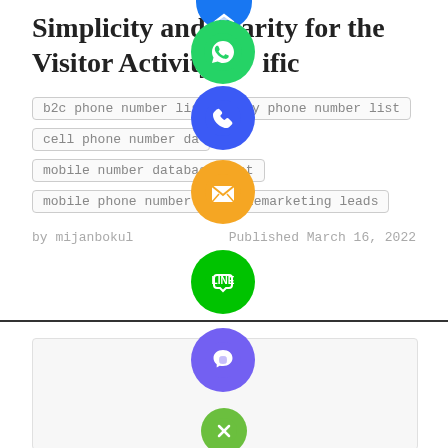Simplicity and Clarity for the Visitor Activity Specific
b2c phone number list
buy phone number list
cell phone number da[tabase]
mobile number database list
mobile phone number [list] telemarketing leads
by mijanbokul
Published March 16, 2022
[Figure (infographic): Social media sharing icons column: blue messenger (partial top), green WhatsApp, blue phone, orange email/mail, green LINE, purple Viber, green close/X button]